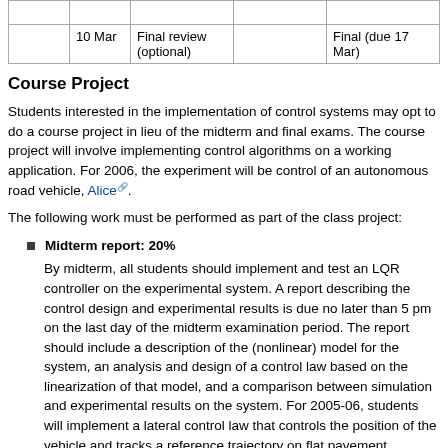|  |  |  |  |  |
| --- | --- | --- | --- | --- |
|  |  |  |  |  |
|  | 10 Mar | Final review (optional) |  | Final (due 17 Mar) |
Course Project
Students interested in the implementation of control systems may opt to do a course project in lieu of the midterm and final exams. The course project will involve implementing control algorithms on a working application. For 2006, the experiment will be control of an autonomous road vehicle, Alice.
The following work must be performed as part of the class project:
Midterm report: 20%
By midterm, all students should implement and test an LQR controller on the experimental system. A report describing the control design and experimental results is due no later than 5 pm on the last day of the midterm examination period. The report should include a description of the (nonlinear) model for the system, an analysis and design of a control law based on the linearization of that model, and a comparison between simulation and experimental results on the system. For 2005-06, students will implement a lateral control law that controls the position of the vehicle and tracks a reference trajectory on flat pavement.
Final report: 30%